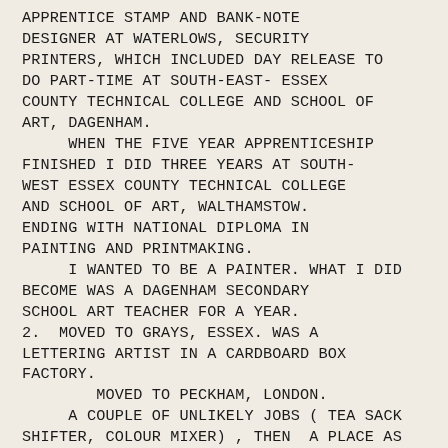APPRENTICE STAMP AND BANK-NOTE DESIGNER AT WATERLOWS, SECURITY PRINTERS, WHICH INCLUDED DAY RELEASE TO DO PART-TIME AT SOUTH-EAST- ESSEX COUNTY TECHNICAL COLLEGE AND SCHOOL OF ART, DAGENHAM.
     WHEN THE FIVE YEAR APPRENTICESHIP FINISHED I DID THREE YEARS AT SOUTH-WEST ESSEX COUNTY TECHNICAL COLLEGE AND SCHOOL OF ART, WALTHAMSTOW. ENDING WITH NATIONAL DIPLOMA IN PAINTING AND PRINTMAKING.
     I WANTED TO BE A PAINTER. WHAT I DID BECOME WAS A DAGENHAM SECONDARY SCHOOL ART TEACHER FOR A YEAR.
2.  MOVED TO GRAYS, ESSEX. WAS A LETTERING ARTIST IN A CARDBOARD BOX FACTORY.
        MOVED TO PECKHAM, LONDON.
     A COUPLE OF UNLIKELY JOBS ( TEA SACK SHIFTER, COLOUR MIXER) , THEN  A PLACE AS STUDIO ASSISTANT  IN SMALL CENTRAL LONDON  COMMERCIAL ART STUDIO.